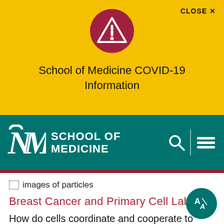[Figure (screenshot): Yellow alert banner with warning triangle icon, CLOSE X button, and text 'School of Medicine COVID-19 Information']
CLOSE ✕
School of Medicine COVID-19 Information
[Figure (logo): UNM School of Medicine logo and navigation bar on teal background with search and menu icons]
[Figure (photo): Broken image placeholder: images of particles]
Breast Cancer and Primary Cell Lab
How do cells coordinate and cooperate to